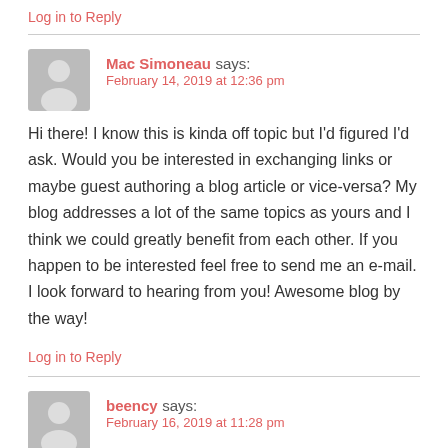Log in to Reply
Mac Simoneau says:
February 14, 2019 at 12:36 pm
Hi there! I know this is kinda off topic but I'd figured I'd ask. Would you be interested in exchanging links or maybe guest authoring a blog article or vice-versa? My blog addresses a lot of the same topics as yours and I think we could greatly benefit from each other. If you happen to be interested feel free to send me an e-mail. I look forward to hearing from you! Awesome blog by the way!
Log in to Reply
beency says:
February 16, 2019 at 11:28 pm